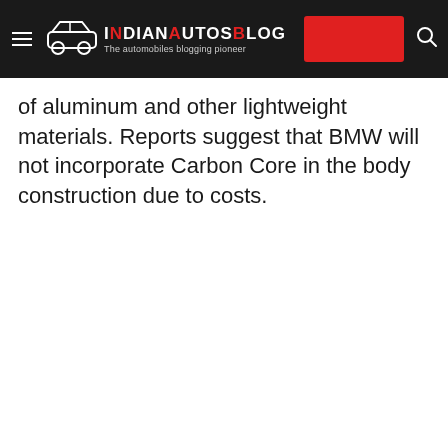IndianAutosBlog — The automobiles blogging pioneer
of aluminum and other lightweight materials. Reports suggest that BMW will not incorporate Carbon Core in the body construction due to costs.